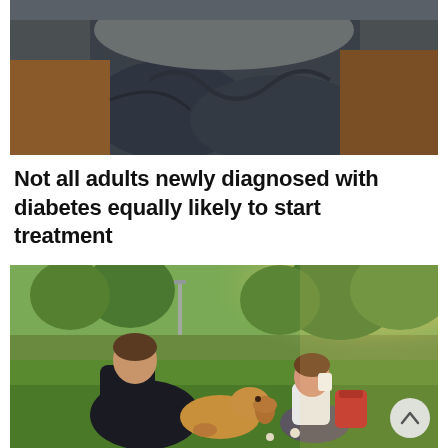[Figure (photo): Close-up photo of a person sitting on a couch, wearing dark jeans and a grey top, lower body and torso visible]
Not all adults newly diagnosed with diabetes equally likely to start treatment
[Figure (photo): Outdoor park scene with a man sitting on grass holding a golden retriever dog, a young girl in a white shirt drinking from a cup sitting beside him with a red backpack, trees and sunlight in background]